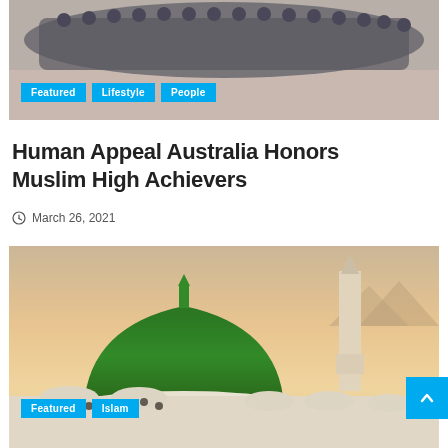[Figure (photo): Group photo of people gathered in a semicircle outdoors, taken from above]
Featured   Lifestyle   People
Human Appeal Australia Honors Muslim High Achievers
March 26, 2021
[Figure (photo): Mosque with large green dome and minaret against a sunset sky, with smaller white domes in the foreground]
Featured   Islam